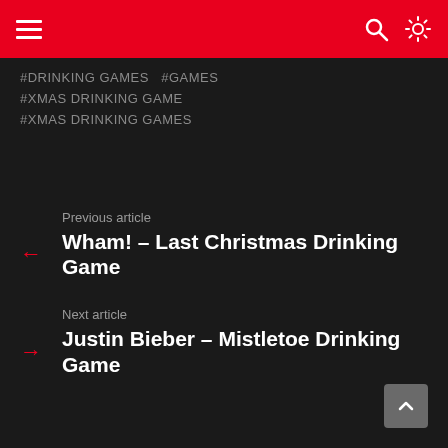Navigation header with hamburger menu, search icon, and brightness icon
#DRINKING GAMES  #GAMES
#XMAS DRINKING GAME
#XMAS DRINKING GAMES
Previous article
← Wham! – Last Christmas Drinking Game
Next article
→ Justin Bieber – Mistletoe Drinking Game